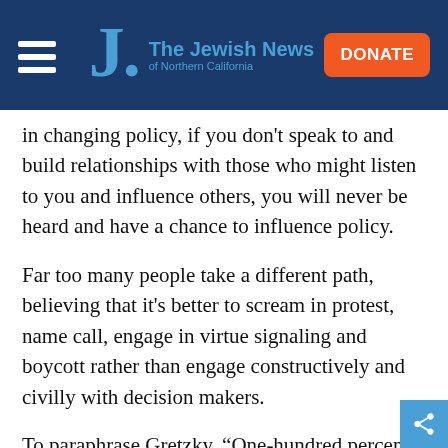The Jewish News of Northern California
in changing policy, if you don't speak to and build relationships with those who might listen to you and influence others, you will never be heard and have a chance to influence policy.
Far too many people take a different path, believing that it's better to scream in protest, name call, engage in virtue signaling and boycott rather than engage constructively and civilly with decision makers.
To paraphrase Gretzky, “One-hundred percent of the candles you don’t light stay unlit.”
This Hanukkah, let us bring light and not darknes